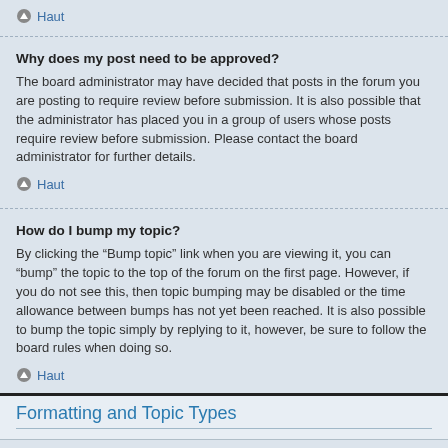Haut
Why does my post need to be approved?
The board administrator may have decided that posts in the forum you are posting to require review before submission. It is also possible that the administrator has placed you in a group of users whose posts require review before submission. Please contact the board administrator for further details.
Haut
How do I bump my topic?
By clicking the “Bump topic” link when you are viewing it, you can “bump” the topic to the top of the forum on the first page. However, if you do not see this, then topic bumping may be disabled or the time allowance between bumps has not yet been reached. It is also possible to bump the topic simply by replying to it, however, be sure to follow the board rules when doing so.
Haut
Formatting and Topic Types
What is BBCode?
BBCode is a special implementation of HTML, offering great formatting control on particular objects in a post. The use of BBCode is granted by the administrator, but it can also be disabled on a per post basis from the posting